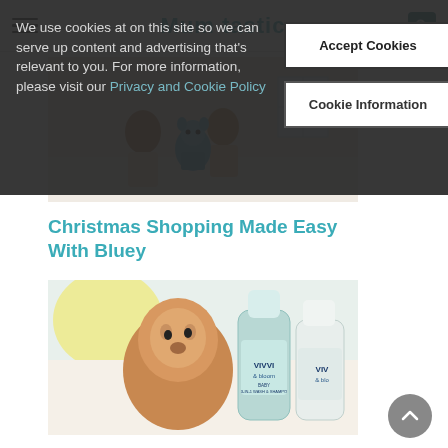We use cookies at on this site so we can serve up content and advertising that's relevant to you. For more information, please visit our Privacy and Cookie Policy
Accept Cookies
Cookie Information
[Figure (photo): Two children playing with a Bluey stuffed toy character on the floor]
Christmas Shopping Made Easy With Bluey
[Figure (photo): A baby looking up and VIVVI & bloom baby wash and shampoo cleansing gel product bottles]
Johnson & Johnson Launches New EWG Verfied Baby Sensitive Vivvi &